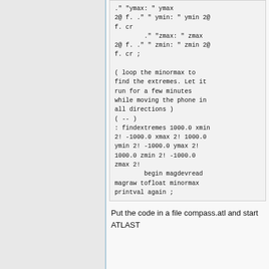. " ymax: " ymax 2@ f. ." " ymin: " ymin 2@ f. cr
        ." "zmax: " zmax 2@ f. ." " zmin: " zmin 2@ f. cr ;

( loop the minormax to find the extremes. Let it run for a few minutes while moving the phone in all directions )
( -- )
: findextremes 1000.0 xmin 2! -1000.0 xmax 2! 1000.0 ymin 2! -1000.0 ymax 2! 1000.0 zmin 2! -1000.0 zmax 2!
        begin magdevread magraw tofloat minormax printval again ;
Put the code in a file compass.atl and start ATLAST